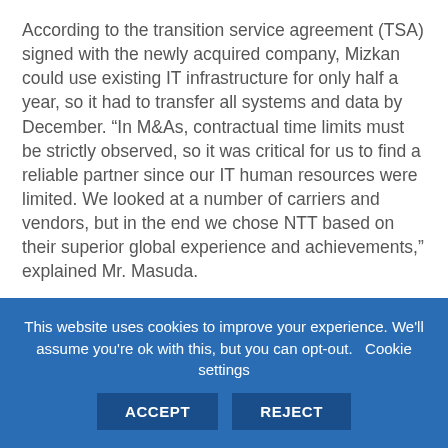According to the transition service agreement (TSA) signed with the newly acquired company, Mizkan could use existing IT infrastructure for only half a year, so it had to transfer all systems and data by December. “In M&As, contractual time limits must be strictly observed, so it was critical for us to find a reliable partner since our IT human resources were limited. We looked at a number of carriers and vendors, but in the end we chose NTT based on their superior global experience and achievements,” explained Mr. Masuda.
Standardization and efficiency were crucial, since actual construction of the IT infrastructure had to be
This website uses cookies to improve your experience. We’ll assume you’re ok with this, but you can opt-out. Cookie settings ACCEPT REJECT